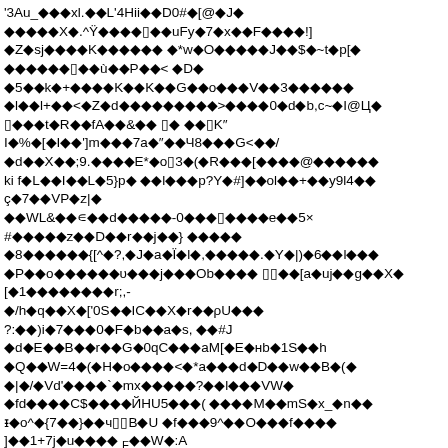'3Au_◆◆◆xl.◆◆L'4Hii◆◆D0#◆[@◆J◆ ◆◆◆◆◆X◆.^Ÿ◆◆◆◆▯◆◆uFy◆7◆x◆◆F◆◆◆◆! ] ◆Z◆sj◆◆◆◆K◆◆◆◆◆◆ ◆*w◆O◆◆◆◆◆J◆◆$◆~t◆p[◆ ◆◆◆◆◆◆▯◆◆ù◆◆P◆◆< ◆D◆ ◆5◆◆k◆+◆◆◆◆K◆◆K◆◆G◆◆o◆◆◆V◆◆3◆◆◆◆◆◆ ◆l◆◆l+◆◆<◆Z◆d◆◆◆◆◆◆◆◆◆>◆◆◆◆0◆d◆b,c~◆I@Ц◆ ▯◆◆◆t◆R◆◆fA◆◆&◆◆ ▯◆ ◆◆▯K″ I◆%◆[◆I◆◆']m◆◆◆7a◆″◆◆Ч8◆◆◆G<◆◆/ ◆d◆◆X◆◆;9.◆◆◆◆E*◆o▯3◆(◆R◆◆◆[◆◆◆◆@◆◆◆◆◆◆ ki f◆L◆◆I◆◆L◆5}p◆ ◆◆l◆◆◆p?Y◆#]◆◆ol◆◆+◆◆y9l4◆◆ ç◆7◆◆VP◆z|◆ ◆◆WL&◆◆∊◆◆d◆◆◆◆◆-0◆◆◆▯◆◆◆◆e◆◆5× #◆◆◆◆◆z◆◆D◆◆r◆◆j◆◆} ◆◆◆◆◆ ◆8◆◆◆◆◆◆{[^◆?,◆J◆a◆Ï◆l◆,◆◆◆◆◆.◆Y◆|)◆6◆◆l◆◆◆ ◆P◆◆o◆◆◆◆◆◆υ◆◆◆j◆◆◆Ob◆◆◆◆ ▯▯◆◆[a◆uj◆◆g◆◆X◆ [◆1◆◆◆◆◆◆◆◆r;,- ◆/h◆q◆◆X◆['0S◆◆IC◆◆X◆r◆◆ρU◆◆◆ ?:◆◆)i◆7◆◆◆0◆F◆b◆◆a◆s, ◆◆#J ◆d◆E◆◆B◆◆r◆◆G◆0qC◆◆◆aM[◆E◆нb◆1S◆◆h ◆Q◆◆W=4◆(◆H◆o◆◆◆◆<◆*a◆◆◆d◆D◆◆w◆◆B◆(◆ ◆|◆/◆Vd'◆◆◆◆`◆mx◆◆◆◆◆?◆◆l◆◆◆VW◆ ◆fd◆◆◆◆C$◆◆◆◆ЙHU5◆◆◆( ◆◆◆◆M◆◆mS◆x_◆n◆◆ ᵻ◆o^◆{7◆◆}◆◆ч▯▯B◆U ◆f◆◆◆9^◆◆O◆◆◆f◆◆◆◆ ]◆◆1+7j◆u◆◆◆◆ F◆◆W◆:A